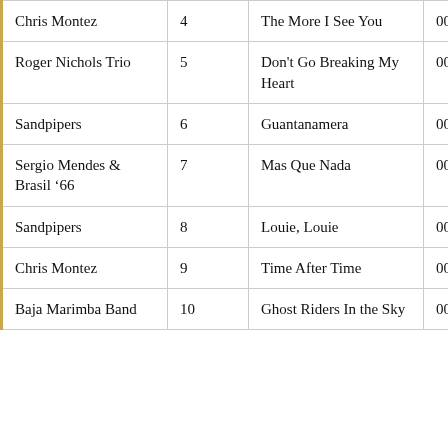| Artist | Track | Title | Duration |
| --- | --- | --- | --- |
| Chris Montez | 4 | The More I See You | 00:02:39 |
| Roger Nichols Trio | 5 | Don't Go Breaking My Heart | 00:02:43 |
| Sandpipers | 6 | Guantanamera | 00:03:11 |
| Sergio Mendes & Brasil '66 | 7 | Mas Que Nada | 00:02:34 |
| Sandpipers | 8 | Louie, Louie | 00:02:44 |
| Chris Montez | 9 | Time After Time | 00:02:18 |
| Baja Marimba Band | 10 | Ghost Riders In the Sky | 00:02:47 |